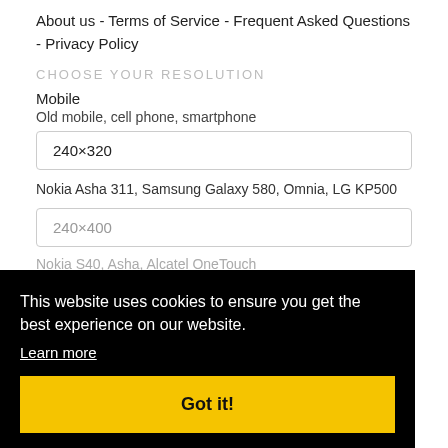About us - Terms of Service - Frequent Asked Questions - Privacy Policy
CHOOSE YOUR RESOLUTION
Mobile
Old mobile, cell phone, smartphone
240×320
Nokia Asha 311, Samsung Galaxy 580, Omnia, LG KP500
240×400
Nokia S40, Asha, Alcatel OneTouch
320×240
Samsung Galaxy Ace GT-S5830, Sony Xperia E, Miro, HTC Wildfire S, C, LG Optimus
[Figure (screenshot): Cookie consent overlay with black background. Text: 'This website uses cookies to ensure you get the best experience on our website.' with a 'Learn more' underlined link, and a yellow 'Got it!' button below.]